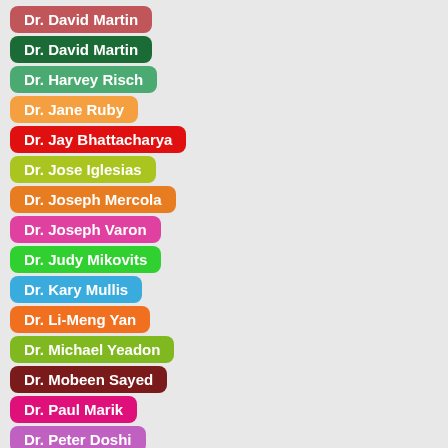Dr. David Martin
Dr. David Martin
Dr. Harvey Risch
Dr. Jane Ruby
Dr. Jay Bhattacharya
Dr. Jose Iglesias
Dr. Joseph Mercola
Dr. Joseph Varon
Dr. Judy Mikovits
Dr. Kary Mullis
Dr. Li-Meng Yan
Dr. Michael Yeadon
Dr. Mobeen Sayed
Dr. Paul Marik
Dr. Peter Doshi
Dr. Peter McCullough
Dr. Pierre Kory
Dr. (partial)